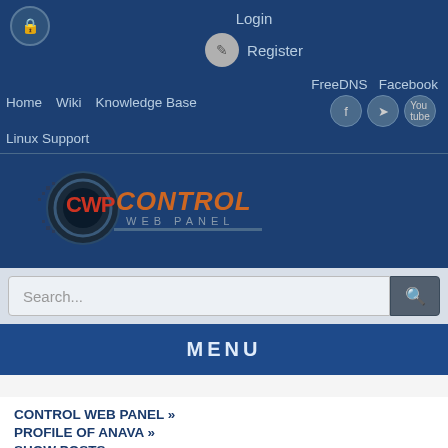[Figure (screenshot): CWP Control Web Panel website header with navigation, logo, search bar, menu bar, and breadcrumb links]
Login
Register
Home  Wiki  Knowledge Base  FreeDNS  Facebook
Linux Support
[Figure (logo): CWP Control Web Panel logo with circular gear graphic and stylized text]
Search...
MENU
CONTROL WEB PANEL »
PROFILE OF ANAVA »
SHOW POSTS »
MESSAGES